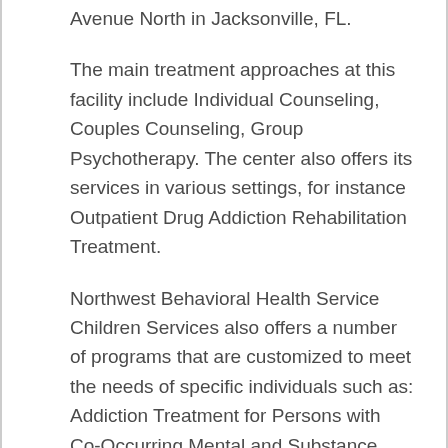Avenue North in Jacksonville, FL.
The main treatment approaches at this facility include Individual Counseling, Couples Counseling, Group Psychotherapy. The center also offers its services in various settings, for instance Outpatient Drug Addiction Rehabilitation Treatment.
Northwest Behavioral Health Service Children Services also offers a number of programs that are customized to meet the needs of specific individuals such as: Addiction Treatment for Persons with Co-Occurring Mental and Substance Use Disorders, Addiction Treatment for Lesbian, Gay, Bisexual, Or Transgender (LGBT) Clients, Court-Ordered Outpatient Rehab...